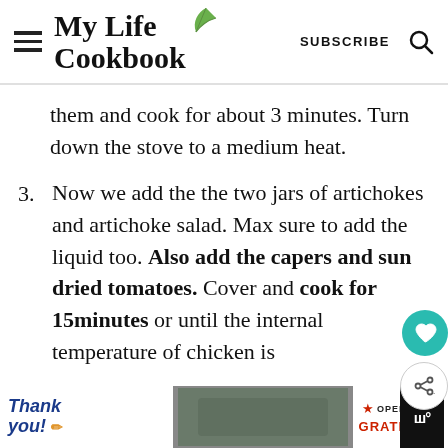My Life Cookbook
them and cook for about 3 minutes. Turn down the stove to a medium heat.
Now we add the the two jars of artichokes and artichoke salad. Max sure to add the liquid too. Also add the capers and sun dried tomatoes. Cover and cook for 15minutes or until the internal temperature of chicken is
[Figure (screenshot): Advertisement banner: Thank you Operation Gratitude with military imagery]
[Figure (other): Floating heart/favorite button (teal circle with heart icon)]
[Figure (other): Floating share button (white circle with share icon)]